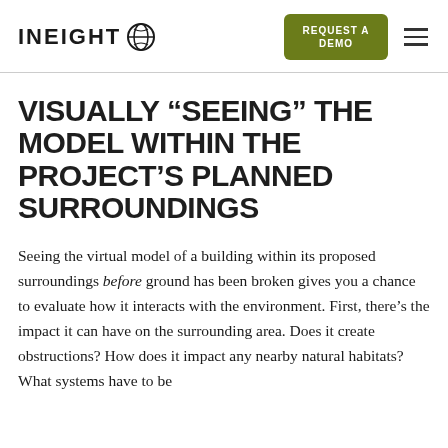INEIGHT  REQUEST A DEMO
VISUALLY “SEEING” THE MODEL WITHIN THE PROJECT’S PLANNED SURROUNDINGS
Seeing the virtual model of a building within its proposed surroundings before ground has been broken gives you a chance to evaluate how it interacts with the environment. First, there’s the impact it can have on the surrounding area. Does it create obstructions? How does it impact any nearby natural habitats? What systems have to be